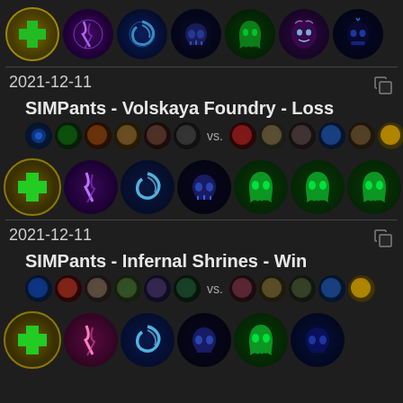[Figure (screenshot): Top row of circular talent/ability icons from a Heroes of the Storm match history page: heal icon, purple lightning, blue swirl, blue skull, green ghost, purple face, blue mask]
2021-12-11
SIMPants - Volskaya Foundry - Loss
[Figure (screenshot): Hero icons for match 1: team icons vs opponent icons]
[Figure (screenshot): Talent icons row for match 1 (Loss): heal, purple lightning, blue swirl, blue skull, green, green, green]
2021-12-11
SIMPants - Infernal Shrines - Win
[Figure (screenshot): Hero icons for match 2: team icons vs opponent icons]
[Figure (screenshot): Talent icons row for match 2 (Win): heal, pink lightning, blue swirl, blue skull, green, blue]